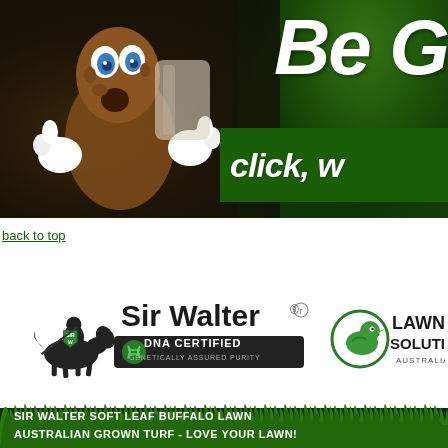[Figure (photo): Promotional banner image showing a brown anthropomorphic character mascot with white gloves on dark background on left, green grass texture on right with large white text 'Be G' and italic white text 'click, w' on a dark green band]
back to top
[Figure (logo): Sir Walter DNA Certified logo — knight on horseback with shield marked SIR W, text 'Sir Walter' with registered trademark, DNA double helix graphic, banner reading 'DNA CERTIFIED GENETICALLY ASSURED PURITY']
[Figure (logo): Lawn Solutions Australia logo — green stylized duck/bird icon with circular border, bold text 'LAWN SOLUTIONS' and smaller 'AUSTRALIA']
[Figure (illustration): Green grass strip at bottom of page]
SIR WALTER SOFT LEAF BUFFALO LAWN
AUSTRALIAN GROWN TURF - LOVE YOUR LAWN!